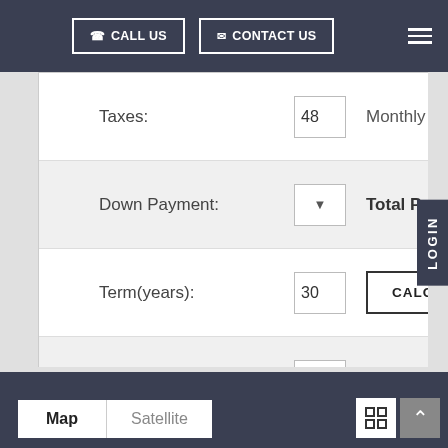CALL US | CONTACT US
Taxes: 48 | Monthly Assessments
Down Payment: [dropdown] Total Payment »
Term(years): 30 | CALCULATE
Assessments: 53
Map | Satellite